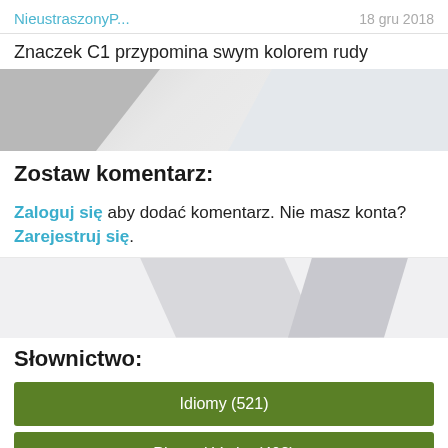NieustraszonyP...   18 gru 2018
Znaczek C1 przypomina swym kolorem rudy
[Figure (photo): Partially visible image, light gray background with triangular shapes]
Zostaw komentarz:
Zaloguj się aby dodać komentarz. Nie masz konta? Zarejestruj się.
[Figure (photo): Partially visible image with gray geometric shapes]
Słownictwo:
Idiomy (521)
Phrasal Verbs (402)